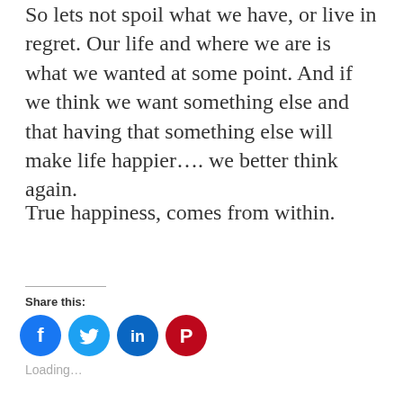So lets not spoil what we have, or live in regret. Our life and where we are is what we wanted at some point. And if we think we want something else and that having that something else will make life happier…. we better think again.
True happiness, comes from within.
Share this:
[Figure (infographic): Four social media share buttons: Facebook (blue circle with f icon), Twitter (blue circle with bird icon), LinkedIn (teal circle with in icon), Pinterest (red circle with P icon)]
Loading…